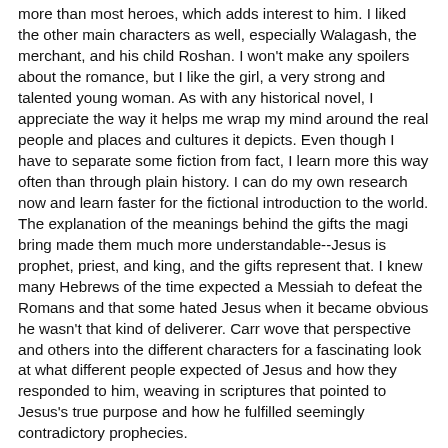more than most heroes, which adds interest to him. I liked the other main characters as well, especially Walagash, the merchant, and his child Roshan. I won't make any spoilers about the romance, but I like the girl, a very strong and talented young woman. As with any historical novel, I appreciate the way it helps me wrap my mind around the real people and places and cultures it depicts. Even though I have to separate some fiction from fact, I learn more this way often than through plain history. I can do my own research now and learn faster for the fictional introduction to the world. The explanation of the meanings behind the gifts the magi bring made them much more understandable--Jesus is prophet, priest, and king, and the gifts represent that. I knew many Hebrews of the time expected a Messiah to defeat the Romans and that some hated Jesus when it became obvious he wasn't that kind of deliverer. Carr wove that perspective and others into the different characters for a fascinating look at what different people expected of Jesus and how they responded to him, weaving in scriptures that pointed to Jesus's true purpose and how he fulfilled seemingly contradictory prophecies.